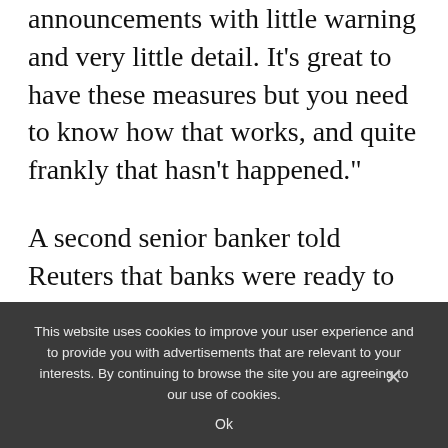announcements with little warning and very little detail. It’s great to have these measures but you need to know how that works, and quite frankly that hasn’t happened.”
A second senior banker told Reuters that banks were ready to support struggling borrowers but delays were inevitable.
“The government is, necessarily, giving
This website uses cookies to improve your user experience and to provide you with advertisements that are relevant to your interests. By continuing to browse the site you are agreeing to our use of cookies.

Ok